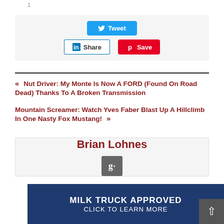[Figure (screenshot): Social sharing bar with Tweet, LinkedIn Share, and Pinterest Save buttons on a light grey background]
« Nut Driver: My Monte Is Now A FORD (Found On Road Dead) Thanks To A Broken Transmission
Mountain Screamer: Watch Yves Faber Blast Up A Hillclimb In One Nasty Fox Mustang! »
Brian Lohnes
[Figure (logo): Google Plus g+ icon button in grey]
[Figure (screenshot): Dark blue banner advertisement reading MILK TRUCK APPROVED CLICK TO LEARN MORE]